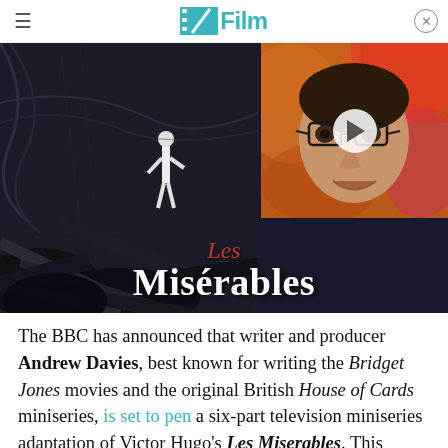/Film
[Figure (photo): Left: black and white stylized illustration of a figure standing amid debris or ruins. Right: color photo of a man with glasses looking surprised, with a play button overlay. Below: Les Misérables title card in dark dramatic style with red 'Les' and white 'Misérables' text.]
The BBC has announced that writer and producer Andrew Davies, best known for writing the Bridget Jones movies and the original British House of Cards miniseries, is set to pen a six-part television miniseries adaptation of Victor Hugo's Les Miserables. This project, which will utilize the same